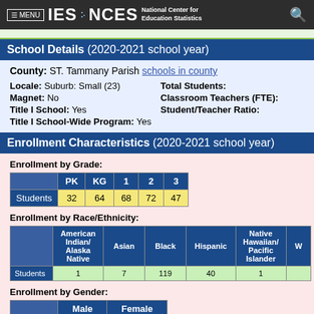≡ MENU  IES ·: NCES  National Center for Education Statistics
School Details (2020-2021 school year)
County: ST. Tammany Parish schools in county
Locale: Suburb: Small (23)
Magnet: No
Title I School: Yes
Title I School-Wide Program: Yes
Total Students:
Classroom Teachers (FTE):
Student/Teacher Ratio:
Enrollment Characteristics (2020-2021 school year)
Enrollment by Grade:
|  | PK | KG | 1 | 2 | 3 |
| --- | --- | --- | --- | --- | --- |
| Students | 32 | 64 | 68 | 72 | 47 |
Enrollment by Race/Ethnicity:
|  | American Indian/ Alaska Native | Asian | Black | Hispanic | Native Hawaiian/ Pacific Islander | W |
| --- | --- | --- | --- | --- | --- | --- |
| Students | 1 | 7 | 119 | 40 | 1 |  |
Enrollment by Gender:
|  | Male | Female |
| --- | --- | --- |
| Students | 159 | 124 |